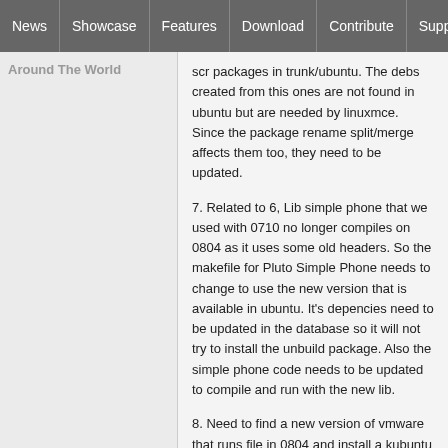News | Showcase | Features | Download | Contribute | Support
Around The World
scr packages in trunk/ubuntu. The debs created from this ones are not found in ubuntu but are needed by linuxmce. Since the package rename split/merge affects them too, they need to be updated.
7. Related to 6, Lib simple phone that we used with 0710 no longer compiles on 0804 as it uses some old headers. So the makefile for Pluto Simple Phone needs to change to use the new version that is available in ubuntu. It's depencies need to be updated in the database so it will not try to install the unbuild package. Also the simple phone code needs to be updated to compile and run with the new lib.
8. Need to find a new version of vmware that runs file in 0804 and install a kubuntu on it so we can use it as a start point for a dvd creating